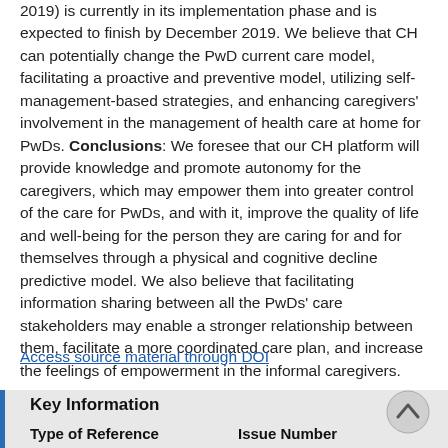2019) is currently in its implementation phase and is expected to finish by December 2019. We believe that CH can potentially change the PwD current care model, facilitating a proactive and preventive model, utilizing self-management-based strategies, and enhancing caregivers' involvement in the management of health care at home for PwDs. Conclusions: We foresee that our CH platform will provide knowledge and promote autonomy for the caregivers, which may empower them into greater control of the care for PwDs, and with it, improve the quality of life and well-being for the person they are caring for and for themselves through a physical and cognitive decline predictive model. We also believe that facilitating information sharing between all the PwDs' care stakeholders may enable a stronger relationship between them, facilitate a more coordinated care plan, and increase the feelings of empowerment in the informal caregivers.
Access source material through DOI
Key Information
| Type of Reference | Issue Number |
| --- | --- |